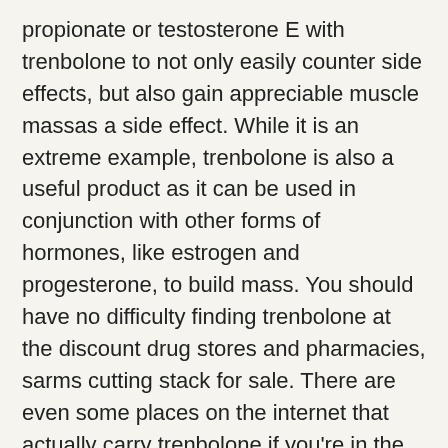propionate or testosterone E with trenbolone to not only easily counter side effects, but also gain appreciable muscle massas a side effect. While it is an extreme example, trenbolone is also a useful product as it can be used in conjunction with other forms of hormones, like estrogen and progesterone, to build mass. You should have no difficulty finding trenbolone at the discount drug stores and pharmacies, sarms cutting stack for sale. There are even some places on the internet that actually carry trenbolone if you're in the market for it.
I have also come across instances that men will get off the drug and still use testosterone propionate or testosterone E to boost muscle mass, weight loss prohormones. I do not recommend using testosterone propionate or testosterone E